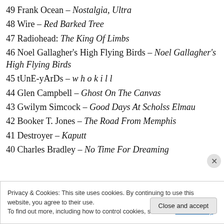49 Frank Ocean – Nostalgia, Ultra
48 Wire – Red Barked Tree
47 Radiohead: The King Of Limbs
46 Noel Gallagher's High Flying Birds – Noel Gallagher's High Flying Birds
45 tUnE-yArDs – w h o k i l l
44 Glen Campbell – Ghost On The Canvas
43 Gwilym Simcock – Good Days At Scholss Elmau
42 Booker T. Jones – The Road From Memphis
41 Destroyer – Kaputt
40 Charles Bradley – No Time For Dreaming
Privacy & Cookies: This site uses cookies. By continuing to use this website, you agree to their use. To find out more, including how to control cookies, see here: Cookie Policy
Close and accept